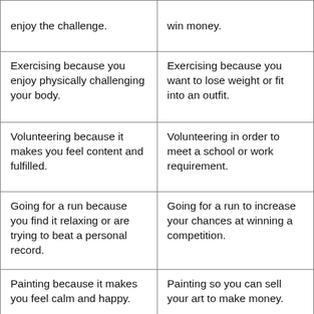| enjoy the challenge. | win money. |
| Exercising because you enjoy physically challenging your body. | Exercising because you want to lose weight or fit into an outfit. |
| Volunteering because it makes you feel content and fulfilled. | Volunteering in order to meet a school or work requirement. |
| Going for a run because you find it relaxing or are trying to beat a personal record. | Going for a run to increase your chances at winning a competition. |
| Painting because it makes you feel calm and happy. | Painting so you can sell your art to make money. |
| Taking on more responsibility at work because you enjoy being challenged and feeling | Taking on more responsibility at work in order to receive a raise |